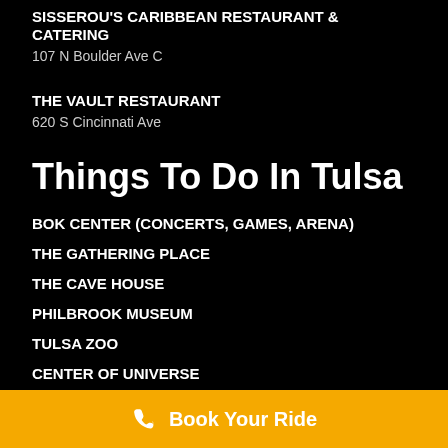SISSEROU'S CARIBBEAN RESTAURANT & CATERING
107 N Boulder Ave C
THE VAULT RESTAURANT
620 S Cincinnati Ave
Things To Do In Tulsa
BOK CENTER (CONCERTS, GAMES, ARENA)
THE GATHERING PLACE
THE CAVE HOUSE
PHILBROOK MUSEUM
TULSA ZOO
CENTER OF UNIVERSE
Book Your Ride